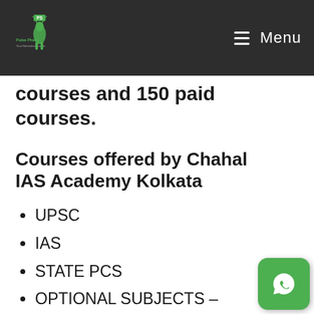Pulse Phase | Menu
courses and 150 paid courses.
Courses offered by Chahal IAS Academy Kolkata
UPSC
IAS
STATE PCS
OPTIONAL SUBJECTS – Anthropology, Geography, Philosophy, Sociology,